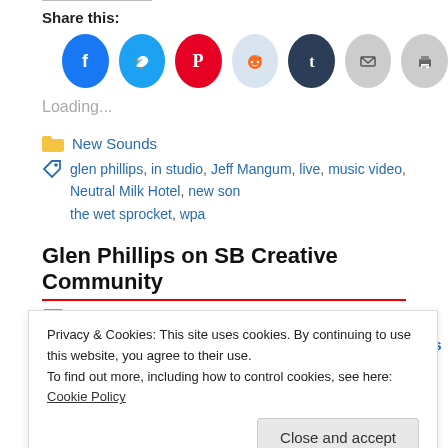Share this:
[Figure (illustration): Row of social share icon circles: Facebook (blue), Twitter (cyan), Pinterest (red), Reddit (light blue), Tumblr (dark navy), Email (gray), Print (gray)]
Loading...
New Sounds (category)
glen phillips, in studio, Jeff Mangum, live, music video, Neutral Milk Hotel, new son the wet sprocket, wpa
Glen Phillips on SB Creative Community
26th Apr 10 (Mon)
Here's a half hour interview (and live session) with Glen Phillips from earlier in A
Privacy & Cookies: This site uses cookies. By continuing to use this website, you agree to their use.
To find out more, including how to control cookies, see here: Cookie Policy
Close and accept